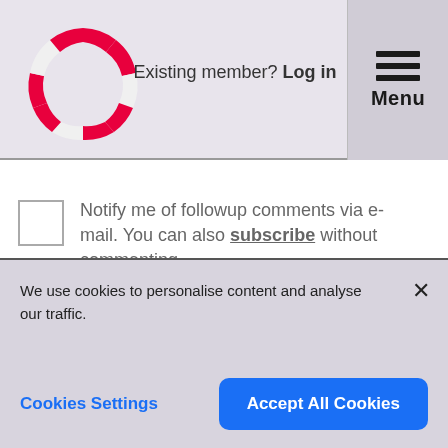[Figure (logo): Red circular segmented logo (dashed ring shape in red and white)]
Existing member? Log in
[Figure (other): Hamburger menu icon with three horizontal lines and 'Menu' text below]
Notify me of followup comments via e-mail. You can also subscribe without commenting.
Post your comment
We use cookies to personalise content and analyse our traffic.
Cookies Settings
Accept All Cookies